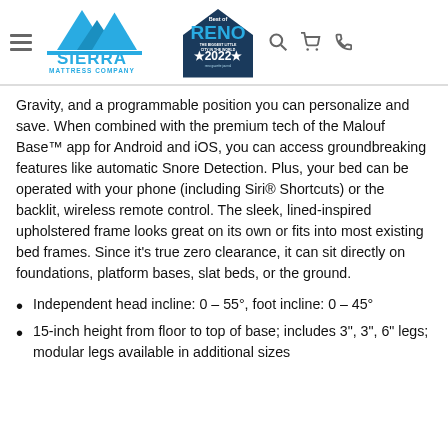Sierra Mattress Company — Best of Reno 2022
Gravity, and a programmable position you can personalize and save. When combined with the premium tech of the Malouf Base™ app for Android and iOS, you can access groundbreaking features like automatic Snore Detection. Plus, your bed can be operated with your phone (including Siri® Shortcuts) or the backlit, wireless remote control. The sleek, lined-inspired upholstered frame looks great on its own or fits into most existing bed frames. Since it's true zero clearance, it can sit directly on foundations, platform bases, slat beds, or the ground.
Independent head incline: 0 – 55°, foot incline: 0 – 45°
15-inch height from floor to top of base; includes 3", 3", 6" legs; modular legs available in additional sizes